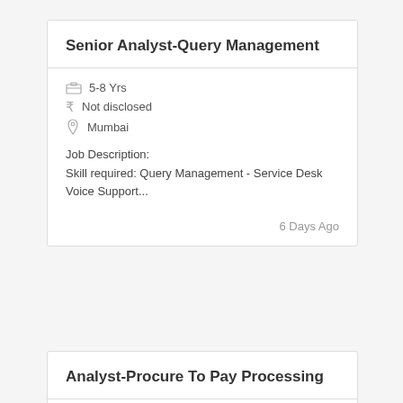Senior Analyst-Query Management
5-8 Yrs
Not disclosed
Mumbai
Job Description:
Skill required: Query Management - Service Desk Voice Support...
6 Days Ago
Analyst-Procure To Pay Processing
3-5 Yrs